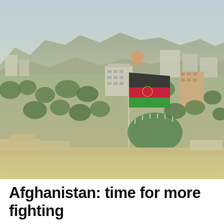[Figure (photo): Aerial view of Kabul, Afghanistan cityscape with trees, buildings, and the large Afghan national flag on a tall flagpole in the foreground. Mountains visible in the background. Hazy blue sky above the city.]
Afghanistan: time for more fighting